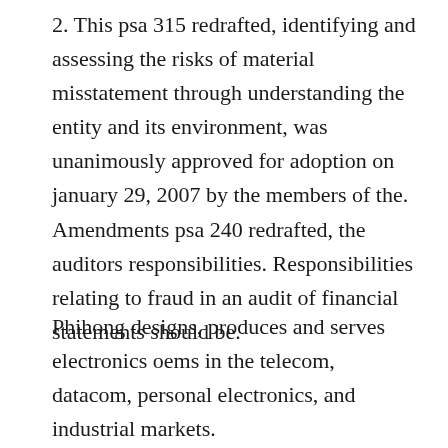2. This psa 315 redrafted, identifying and assessing the risks of material misstatement through understanding the entity and its environment, was unanimously approved for adoption on january 29, 2007 by the members of the. Amendments psa 240 redrafted, the auditors responsibilities. Responsibilities relating to fraud in an audit of financial statements should be.
Phihong designs, produces and serves electronics oems in the telecom, datacom, personal electronics, and industrial markets.